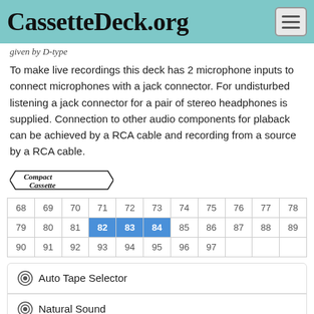CassetteDeck.org
given by D-type
To make live recordings this deck has 2 microphone inputs to connect microphones with a jack connector. For undisturbed listening a jack connector for a pair of stereo headphones is supplied. Connection to other audio components for plaback can be achieved by a RCA cable and recording from a source by a RCA cable.
[Figure (logo): Compact Cassette logo]
| 68 | 69 | 70 | 71 | 72 | 73 | 74 | 75 | 76 | 77 | 78 |
| 79 | 80 | 81 | 82 | 83 | 84 | 85 | 86 | 87 | 88 | 89 |
| 90 | 91 | 92 | 93 | 94 | 95 | 96 | 97 |  |  |  |
Auto Tape Selector
Natural Sound